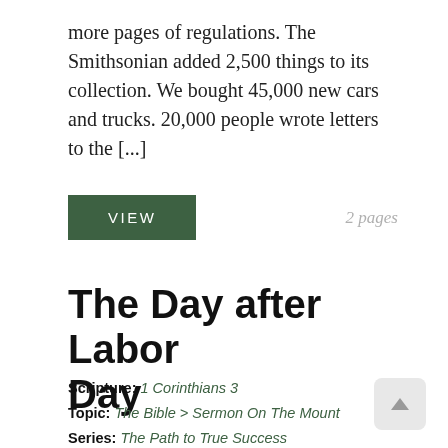more pages of regulations. The Smithsonian added 2,500 things to its collection. We bought 45,000 new cars and trucks. 20,000 people wrote letters to the [...]
[Figure (other): Green VIEW button on the left and '2 pages' italic gray text on the right]
The Day after Labor Day
Scripture: 1 Corinthians 3
Topic: The Bible > Sermon On The Mount
Series: The Path to True Success